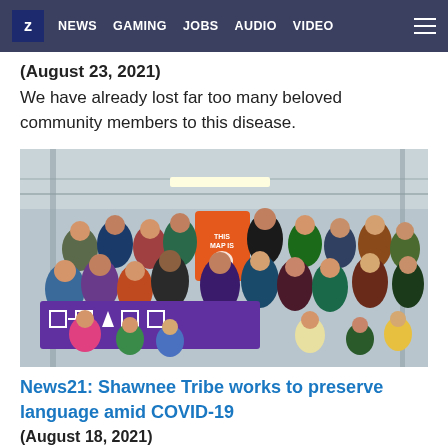Z  NEWS  GAMING  JOBS  AUDIO  VIDEO
(August 23, 2021)
We have already lost far too many beloved community members to this disease.
[Figure (photo): Group photo of Shawnee Tribe community members including adults and children inside a large warehouse/building. They hold a purple banner with white geometric designs and a tree symbol. An orange 'This Map Is' banner/flag hangs in the background.]
News21: Shawnee Tribe works to preserve language amid COVID-19
(August 18, 2021)
The Shawnee language is in danger of